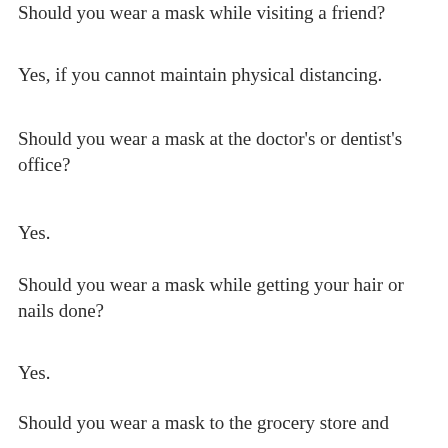Should you wear a mask while visiting a friend?
Yes, if you cannot maintain physical distancing.
Should you wear a mask at the doctor's or dentist's office?
Yes.
Should you wear a mask while getting your hair or nails done?
Yes.
Should you wear a mask to the grocery store and